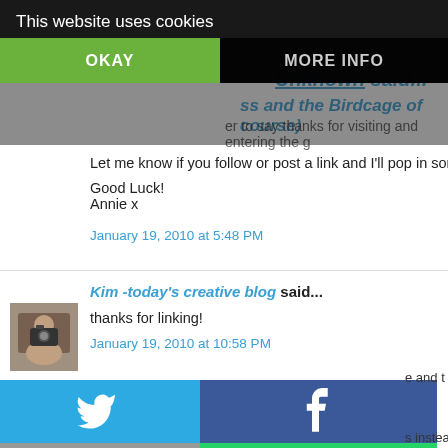This website uses cookies
OKAY
MORE INFO
Unknown said...
ss and the Birdcage of course)
er to say thanks for visiting and entering the g
Let me know if you follow or post a link and I'll pop in some m
Good Luck!
Annie x
January 19, 2010 at 5:48 PM
Kim -today's creative blog said...
thanks for linking!
January 19, 2010 at 10:58 PM
[Figure (infographic): Social sharing buttons grid: Twitter (blue), Facebook (dark blue), Email (gray), WhatsApp (green), SMS (blue), and another icon (green)]
e and t
s instea